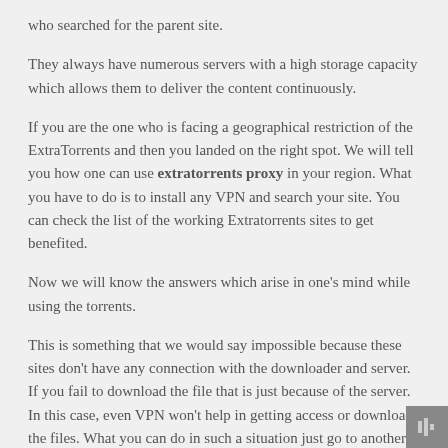who searched for the parent site.
They always have numerous servers with a high storage capacity which allows them to deliver the content continuously.
If you are the one who is facing a geographical restriction of the ExtraTorrents and then you landed on the right spot. We will tell you how one can use extratorrents proxy in your region. What you have to do is to install any VPN and search your site. You can check the list of the working Extratorrents sites to get benefited.
Now we will know the answers which arise in one's mind while using the torrents.
This is something that we would say impossible because these sites don't have any connection with the downloader and server. If you fail to download the file that is just because of the server. In this case, even VPN won't help in getting access or download the files. What you can do in such a situation just go to another mirror site.